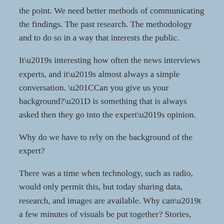the point. We need better methods of communicating the findings. The past research. The methodology and to do so in a way that interests the public.
It’s interesting how often the news interviews experts, and it’s almost always a simple conversation. “Can you give us your background?” is something that is always asked then they go into the expert’s opinion.
Why do we have to rely on the background of the expert?
There was a time when technology, such as radio, would only permit this, but today sharing data, research, and images are available. Why can’t a few minutes of visuals be put together? Stories, rather than words.